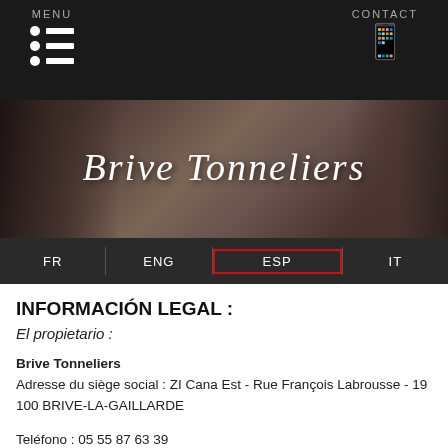MENU | CONTACT - Navigation bar with menu icon and phone icon
[Figure (logo): Brive Tonneliers logo in cursive white text on a dark sepia background showing wine barrels]
[Figure (infographic): Language selector bar with FR, ENG, ESP (active/highlighted in red), IT]
INFORMACIÓN LEGAL :
El propietario :
Brive Tonneliers
Adresse du siège social : ZI Cana Est - Rue François Labrousse - 19 100 BRIVE-LA-GAILLARDE
Teléfono : 05 55 87 63 39
E-Mail : mlmazeyrie@brivetonneliers.fr
Producto : Impala v16.09 [2016]